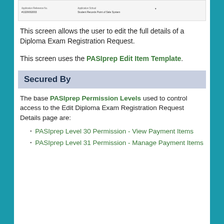[Figure (screenshot): Screenshot of a form showing fields including an application reference number and a field labeled 'Student Records Point of Sale System']
This screen allows the user to edit the full details of a Diploma Exam Registration Request.
This screen uses the PASIprep Edit Item Template.
Secured By
The base PASIprep Permission Levels used to control access to the Edit Diploma Exam Registration Request Details page are:
PASIprep Level 30 Permission - View Payment Items
PASIprep Level 31 Permission - Manage Payment Items